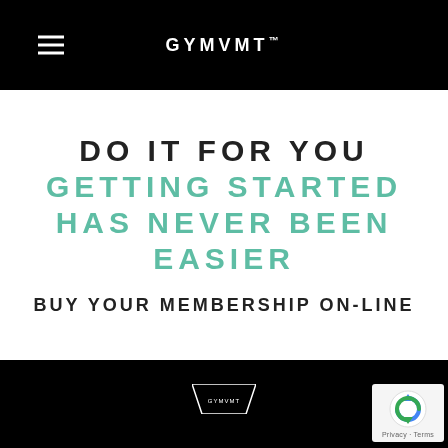GYMVMT™
DO IT FOR YOU
GETTING STARTED HAS NEVER BEEN EASIER
BUY YOUR MEMBERSHIP ON-LINE
[Figure (logo): GYMVMT logo/wordmark in bottom dark area]
[Figure (other): reCAPTCHA badge with 'Privacy · Terms' text]